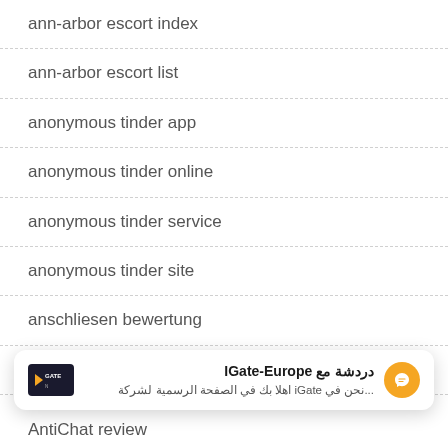ann-arbor escort index
ann-arbor escort list
anonymous tinder app
anonymous tinder online
anonymous tinder service
anonymous tinder site
anschliesen bewertung
antichat espa?a
[Figure (screenshot): Chat popup widget: IGate-Europe logo on left, Arabic text 'دردشة مع IGate-Europe' as title with subtitle '...نحن في iGate اهلا بك في الصفحة الرسمية لشركة', Messenger icon on right]
AntiChat review